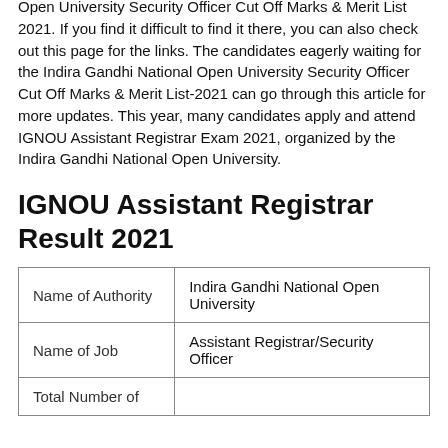Open University Security Officer Cut Off Marks & Merit List 2021. If you find it difficult to find it there, you can also check out this page for the links. The candidates eagerly waiting for the Indira Gandhi National Open University Security Officer Cut Off Marks & Merit List-2021 can go through this article for more updates. This year, many candidates apply and attend IGNOU Assistant Registrar Exam 2021, organized by the Indira Gandhi National Open University.
IGNOU Assistant Registrar Result 2021
| Name of Authority | Indira Gandhi National Open University |
| Name of Job | Assistant Registrar/Security Officer |
| Total Number of |  |